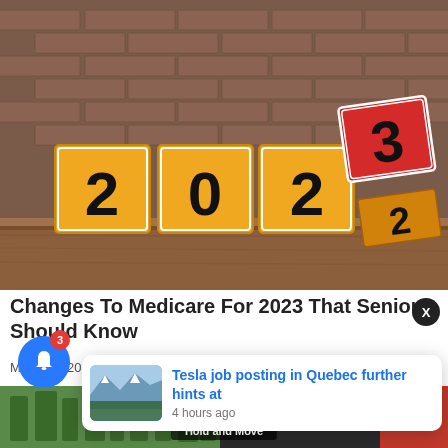[Figure (photo): Photo of numbered blocks spelling '2022' with a red block showing '3' flipping on top to indicate year change to 2023, placed on a wooden shelf against a brick wall background.]
Changes To Medicare For 2023 That Seniors Should Know
Medicare 2023 | Sear...
[Figure (photo): Notification popup showing a thumbnail of a snowy mountain landscape with blue text 'Tesla job posting in Quebec further hints at' and timestamp '4 hours ago'.]
[Figure (photo): Bottom strip showing partial outdoor/nature image with 'Hold and Move' label overlay.]